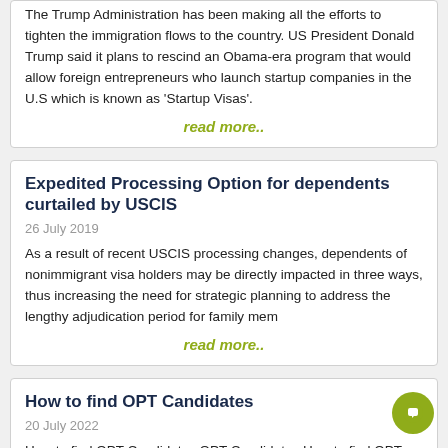The Trump Administration has been making all the efforts to tighten the immigration flows to the country. US President Donald Trump said it plans to rescind an Obama-era program that would allow foreign entrepreneurs who launch startup companies in the U.S which is known as 'Startup Visas'.
read more..
Expedited Processing Option for dependents curtailed by USCIS
26 July 2019
As a result of recent USCIS processing changes, dependents of nonimmigrant visa holders may be directly impacted in three ways, thus increasing the need for strategic planning to address the lengthy adjudication period for family mem
read more..
How to find OPT Candidates
20 July 2022
How to find OPT Candidates OPT Candidates How to find OPT Candidates. A temporary work that is closely related to an F-1 student's principal field of study is known as Optional Practical Training (OPT). It is a perk available to international students with F-1 visas who are enrol